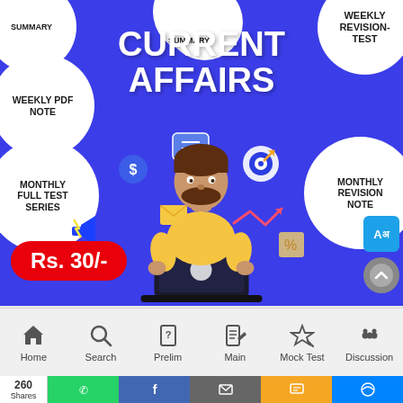[Figure (infographic): Current Affairs promotional banner on blue background with white circles containing: SUMMARY (top center), WEEKLY PDF NOTE (top left), WEEKLY REVISION-TEST (top right), MONTHLY FULL TEST SERIES (mid left), MONTHLY REVISION NOTE (mid right). Center shows 'CURRENT AFFAIRS' title with a 3D animated character holding a laptop, surrounded by icons. Price tag Rs. 30/- in red pill shape bottom left. Translate and scroll buttons bottom right.]
[Figure (screenshot): Bottom navigation bar with icons: Home, Search, Prelim, Main, Mock Test, Discussion]
[Figure (screenshot): Share bar showing 260 Shares, with WhatsApp (green), Facebook (blue), Email (gray), SMS (yellow), Messenger (blue) share buttons]